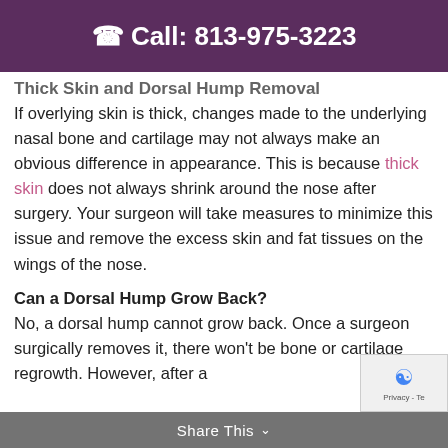Call: 813-975-3223
Thick Skin and Dorsal Hump Removal
If overlying skin is thick, changes made to the underlying nasal bone and cartilage may not always make an obvious difference in appearance. This is because thick skin does not always shrink around the nose after surgery. Your surgeon will take measures to minimize this issue and remove the excess skin and fat tissues on the wings of the nose.
Can a Dorsal Hump Grow Back?
No, a dorsal hump cannot grow back. Once a surgeon surgically removes it, there won't be bone or cartilage regrowth. However, after a